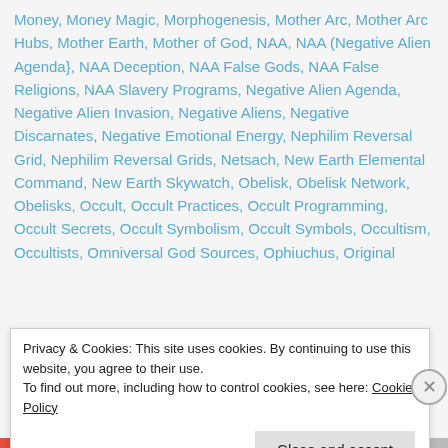Money, Money Magic, Morphogenesis, Mother Arc, Mother Arc Hubs, Mother Earth, Mother of God, NAA, NAA (Negative Alien Agenda}, NAA Deception, NAA False Gods, NAA False Religions, NAA Slavery Programs, Negative Alien Agenda, Negative Alien Invasion, Negative Aliens, Negative Discarnates, Negative Emotional Energy, Nephilim Reversal Grid, Nephilim Reversal Grids, Netsach, New Earth Elemental Command, New Earth Skywatch, Obelisk, Obelisk Network, Obelisks, Occult, Occult Practices, Occult Programming, Occult Secrets, Occult Symbolism, Occult Symbols, Occultism, Occultists, Omniversal God Sources, Ophiuchus, Original
Privacy & Cookies: This site uses cookies. By continuing to use this website, you agree to their use. To find out more, including how to control cookies, see here: Cookie Policy
Close and accept